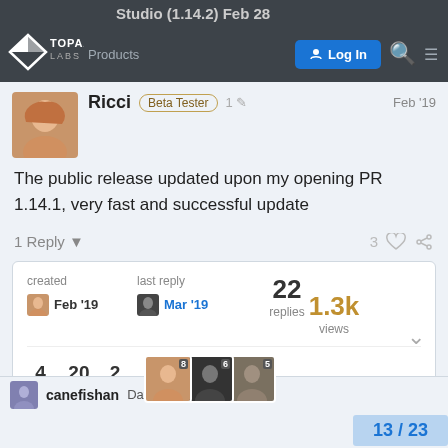Studio (1.14.2) Feb 28
[Figure (logo): Topaz Labs logo - white diamond/arrow shape with TOPAZ LABS text on dark background]
Products
Log In
Ricci  Beta Tester   1  Feb '19
The public release updated upon my opening PR 1.14.1, very fast and successful update
1 Reply   3
created Feb '19   last reply Mar '19   22 replies   1.3k views
4 users   20 likes   2 links
13 / 23
canefishan  David  Be...